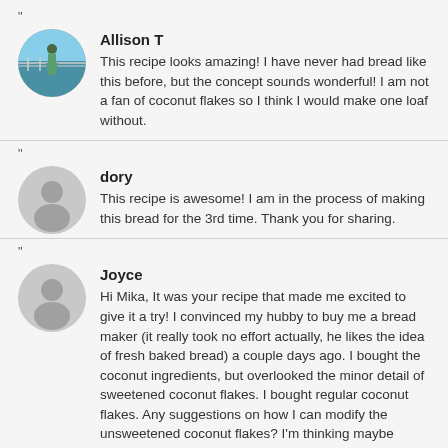"
[Figure (photo): Circular avatar photo of Allison T, showing a person outdoors near water with a railing]
Allison T
This recipe looks amazing! I have never had bread like this before, but the concept sounds wonderful! I am not a fan of coconut flakes so I think I would make one loaf without.
"
[Figure (illustration): Circular generic grey avatar placeholder for user dory]
dory
This recipe is awesome! I am in the process of making this bread for the 3rd time. Thank you for sharing.
"
[Figure (illustration): Circular generic grey avatar placeholder for user Joyce]
Joyce
Hi Mika, It was your recipe that made me excited to give it a try! I convinced my hubby to buy me a bread maker (it really took no effort actually, he likes the idea of fresh baked bread) a couple days ago. I bought the coconut ingredients, but overlooked the minor detail of sweetened coconut flakes. I bought regular coconut flakes. Any suggestions on how I can modify the unsweetened coconut flakes? I'm thinking maybe